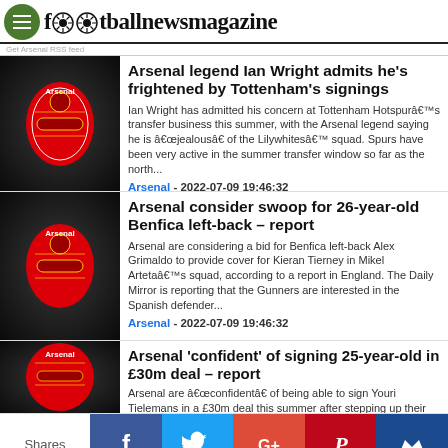footballnewsmagazine
Arsenal legend Ian Wright admits he's frightened by Tottenham's signings
Ian Wright has admitted his concern at Tottenham Hotspurâ€™s transfer business this summer, with the Arsenal legend saying he is â€œjealousâ€ of the Lilywhitesâ€™ squad. Spurs have been very active in the summer transfer window so far as the north...
Arsenal - 2022-07-09 19:46:32
Arsenal consider swoop for 26-year-old Benfica left-back – report
Arsenal are considering a bid for Benfica left-back Alex Grimaldo to provide cover for Kieran Tierney in Mikel Artetaâ€™s squad, according to a report in England. The Daily Mirror is reporting that the Gunners are interested in the Spanish defender...
Arsenal - 2022-07-09 19:46:32
Arsenal 'confident' of signing 25-year-old in £30m deal – report
Arsenal are â€œconfidentâ€ of being able to sign Youri Tielemans in a £30m deal this summer after stepping up their interest in the
Shares